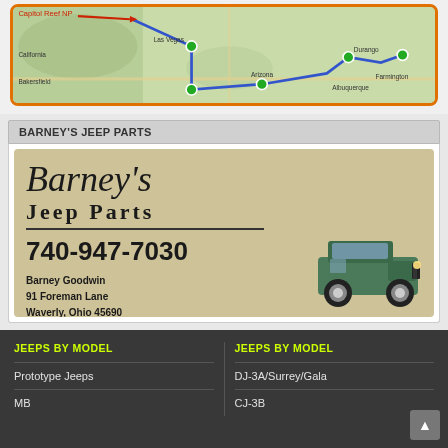[Figure (map): A map showing a road trip route across the southwestern US with green location pins connected by a blue route line, bordered by an orange rounded rectangle frame.]
BARNEY'S JEEP PARTS
[Figure (illustration): Barney's Jeep Parts advertisement on a tan/beige background. Features decorative script 'Barney's', bold text 'JEEP PARTS', phone number 740-947-7030, address: Barney Goodwin, 91 Foreman Lane, Waverly, Ohio 45690, and an image of a green CJ-style Jeep.]
JEEPS BY MODEL
JEEPS BY MODEL
Prototype Jeeps
DJ-3A/Surrey/Gala
MB
CJ-3B